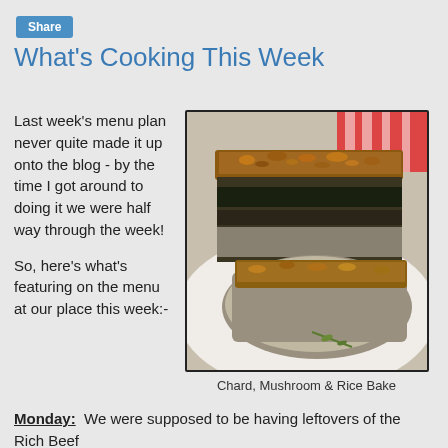Share
What's Cooking This Week
Last week's menu plan never quite made it up onto the blog - by the time I got around to doing it we were half way through the week!

So, here's what's featuring on the menu at our place this week:-
[Figure (photo): Photo of Chard, Mushroom & Rice Bake — stacked slices of a savory bake with dark greens and a crispy golden top, served on a white plate with a red striped cloth in background.]
Chard, Mushroom & Rice Bake
Monday:  We were supposed to be having leftovers of the Rich Beef